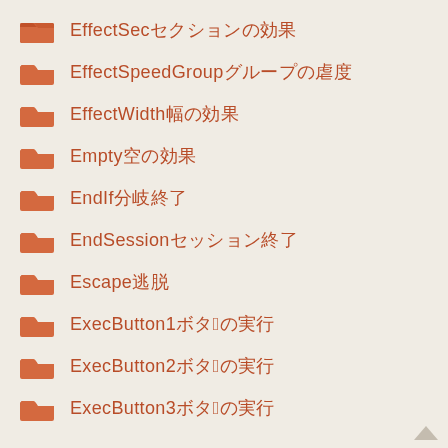EffectSecセクションの効果
EffectSpeedGroupグループの虐度
EffectWidth幅の効果
Empty空の効果
EndIf分岐終了
EndSessionセッション終了
Escape逃脱
ExecButton1ボタン1の実行
ExecButton2ボタン2の実行
ExecButton3ボタン3の実行